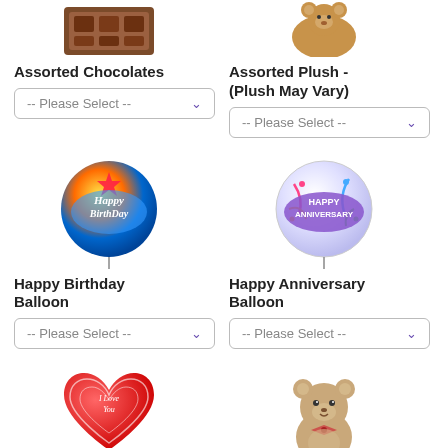[Figure (photo): Assorted Chocolates product image - brown chocolate box visible at top]
[Figure (photo): Assorted Plush product image - brown teddy bear at top]
Assorted Chocolates
Assorted Plush - (Plush May Vary)
[Figure (screenshot): Please Select dropdown for Assorted Chocolates]
[Figure (screenshot): Please Select dropdown for Assorted Plush]
[Figure (photo): Happy Birthday Balloon - colorful round balloon with Happy Birthday text]
[Figure (photo): Happy Anniversary Balloon - round balloon with Happy Anniversary text]
Happy Birthday Balloon
Happy Anniversary Balloon
[Figure (screenshot): Please Select dropdown for Happy Birthday Balloon]
[Figure (screenshot): Please Select dropdown for Happy Anniversary Balloon]
[Figure (photo): I Love You Balloon - red heart-shaped balloon]
[Figure (photo): 18 inch Lotsa Love Bear - beige teddy bear]
I Love You Balloon
18" Lotsa Love® Bear